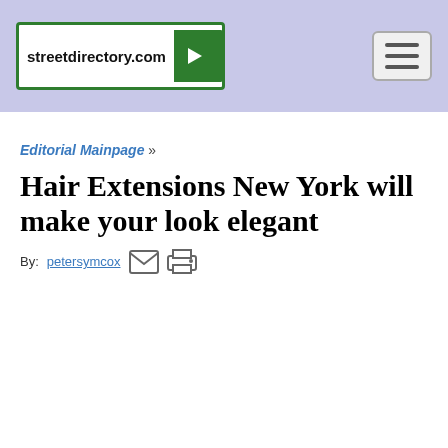streetdirectory.com
Editorial Mainpage »
Hair Extensions New York will make your look elegant
By: petersymcox